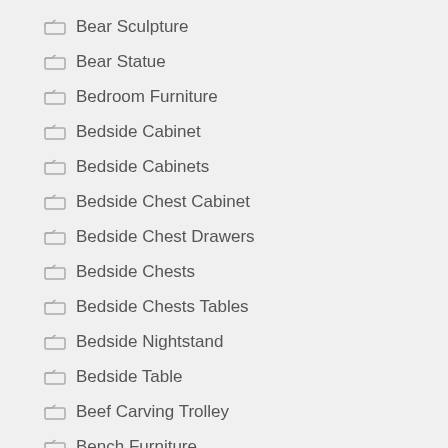Bear Sculpture
Bear Statue
Bedroom Furniture
Bedside Cabinet
Bedside Cabinets
Bedside Chest Cabinet
Bedside Chest Drawers
Bedside Chests
Bedside Chests Tables
Bedside Nightstand
Bedside Table
Beef Carving Trolley
Bench Furniture